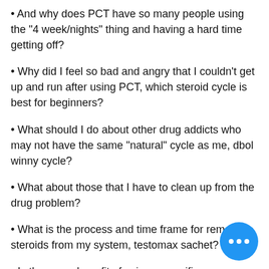And why does PCT have so many people using the "4 week/nights" thing and having a hard time getting off?
Why did I feel so bad and angry that I couldn't get up and run after using PCT, which steroid cycle is best for beginners?
What should I do about other drug addicts who may not have the same "natural" cycle as me, dbol winny cycle?
What about those that I have to clean up from the drug problem?
What is the process and time frame for removing steroids from my system, testomax sachet?
Is there any benefit of using a specific in the form of PCT for certain issues? Is the...